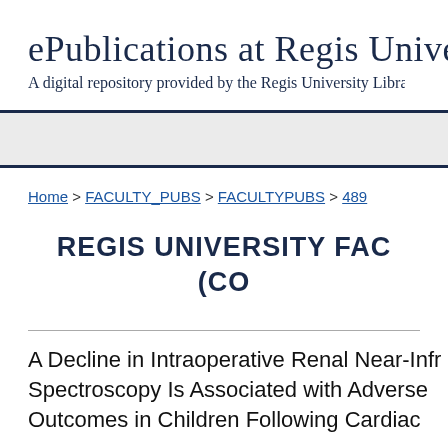ePublications at Regis University
A digital repository provided by the Regis University Library
Home > FACULTY_PUBS > FACULTYPUBS > 489
REGIS UNIVERSITY FACULTY PUBLICATIONS (COLLECTION)
A Decline in Intraoperative Renal Near-Infrared Spectroscopy Is Associated with Adverse Outcomes in Children Following Cardiac